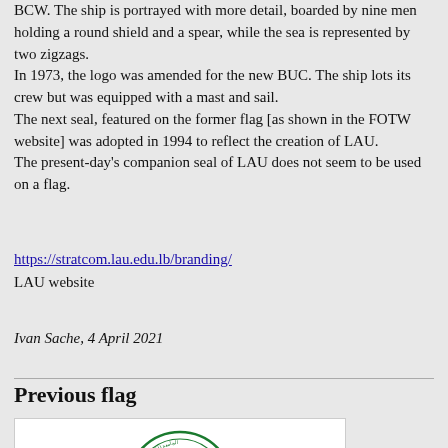BCW. The ship is portrayed with more detail, boarded by nine men holding a round shield and a spear, while the sea is represented by two zigzags.
In 1973, the logo was amended for the new BUC. The ship lots its crew but was equipped with a mast and sail.
The next seal, featured on the former flag [as shown in the FOTW website] was adopted in 1994 to reflect the creation of LAU.
The present-day's companion seal of LAU does not seem to be used on a flag.
https://stratcom.lau.edu.lb/branding/
LAU website
Ivan Sache, 4 April 2021
Previous flag
[Figure (logo): LAU (Lebanese American University) circular seal in green, showing a ship and Arabic text, dated 1944]